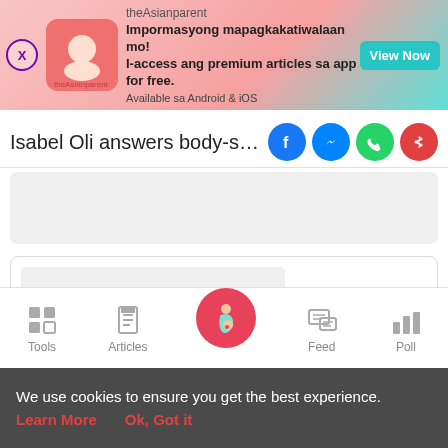[Figure (screenshot): theAsianparent app advertisement banner with close button, app icon, promotional text in Filipino, and View Now button]
Isabel Oli answers body-shaming con
[Figure (infographic): Social sharing icons: Facebook, Messenger, WhatsApp, and share button]
[Figure (screenshot): Gray placeholder content box]
[Figure (screenshot): White card with inner gray placeholder]
[Figure (infographic): Bottom navigation bar with Tools, Articles, home (pregnant woman), Feed, Poll icons]
We use cookies to ensure you get the best experience.
Learn More   Ok, Got it